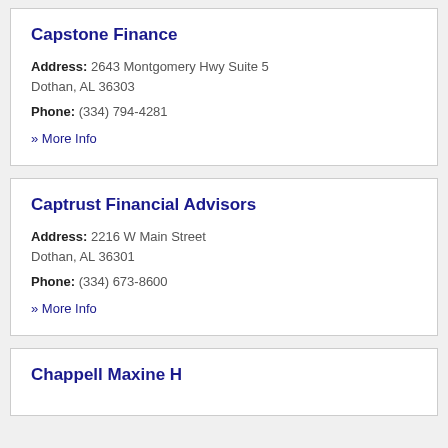Capstone Finance
Address: 2643 Montgomery Hwy Suite 5 Dothan, AL 36303
Phone: (334) 794-4281
» More Info
Captrust Financial Advisors
Address: 2216 W Main Street Dothan, AL 36301
Phone: (334) 673-8600
» More Info
Chappell Maxine H